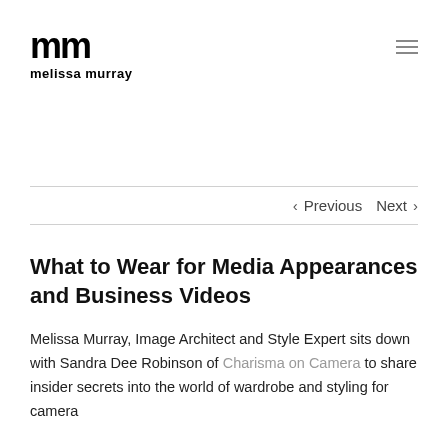mm melissa murray
< Previous   Next >
What to Wear for Media Appearances and Business Videos
Melissa Murray, Image Architect and Style Expert sits down with Sandra Dee Robinson of Charisma on Camera to share insider secrets into the world of wardrobe and styling for camera